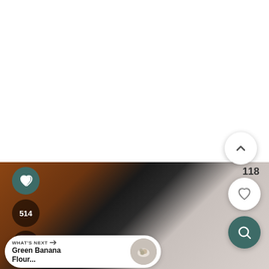[Figure (screenshot): Mobile app UI screenshot showing a recipe or content page. Top half is white. Bottom half shows a blurred food/kitchen image. Overlaid UI controls include: a teal heart button and share button on the left edge, a count badge '514', a number '118' in top-right of image, white heart button and teal search button on the right side, a white scroll-up button, and a 'WHAT'S NEXT → Green Banana Flour...' card with thumbnail at bottom left.]